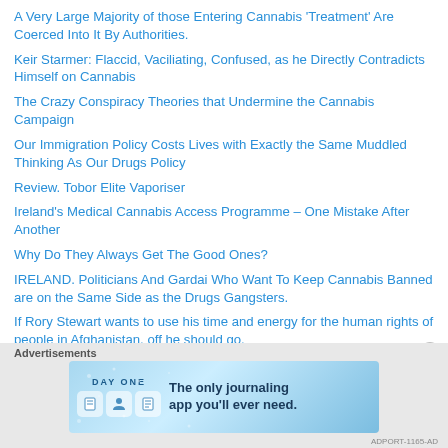A Very Large Majority of those Entering Cannabis 'Treatment' Are Coerced Into It By Authorities.
Keir Starmer: Flaccid, Vaciliating, Confused, as he Directly Contradicts Himself on Cannabis
The Crazy Conspiracy Theories that Undermine the Cannabis Campaign
Our Immigration Policy Costs Lives with Exactly the Same Muddled Thinking As Our Drugs Policy
Review. Tobor Elite Vaporiser
Ireland's Medical Cannabis Access Programme – One Mistake After Another
Why Do They Always Get The Good Ones?
IRELAND. Politicians And Gardai Who Want To Keep Cannabis Banned are on the Same Side as the Drugs Gangsters.
If Rory Stewart wants to use his time and energy for the human rights of people in Afghanistan, off he should go.
Advertisements
[Figure (other): Advertisement banner for DAY ONE journaling app reading 'The only journaling app you'll ever need.']